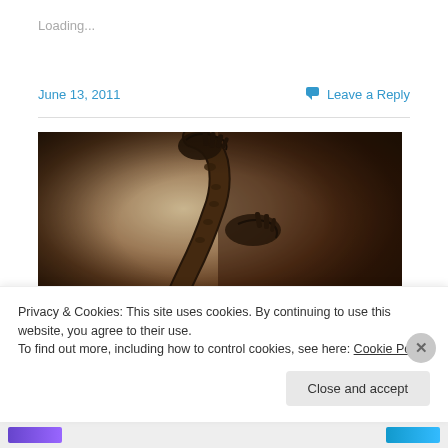Loading...
June 13, 2011
Leave a Reply
[Figure (photo): A close-up sepia/dark toned photograph showing a saxophone being played, with hands visible on the keys against a dark background.]
Privacy & Cookies: This site uses cookies. By continuing to use this website, you agree to their use.
To find out more, including how to control cookies, see here: Cookie Policy
Close and accept